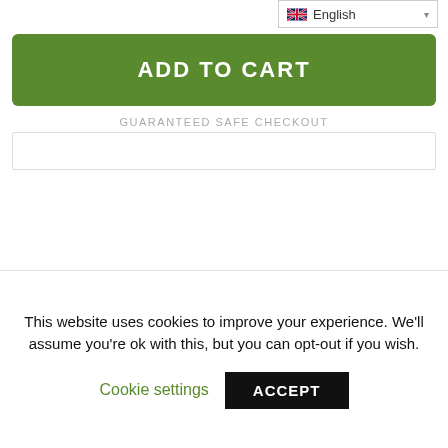[Figure (screenshot): Language selector dropdown showing UK flag and 'English' text with dropdown arrow]
ADD TO CART
GUARANTEED SAFE CHECKOUT
Product Details
This website uses cookies to improve your experience. We'll assume you're ok with this, but you can opt-out if you wish.
Cookie settings
ACCEPT